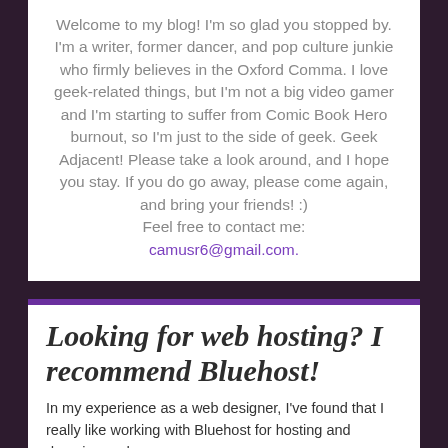Welcome to my blog! I'm so glad you stopped by. I'm a writer, former dancer, and pop culture junkie who firmly believes in the Oxford Comma. I love geek-related things, but I'm not a big video gamer and I'm starting to suffer from Comic Book Hero burnout, so I'm just to the side of geek. Geek Adjacent! Please take a look around, and I hope you stay. If you do go away, please come again, and bring your friends! :) Feel free to contact me: camusr6@gmail.com.
Looking for web hosting? I recommend Bluehost!
In my experience as a web designer, I've found that I really like working with Bluehost for hosting and domain needs.